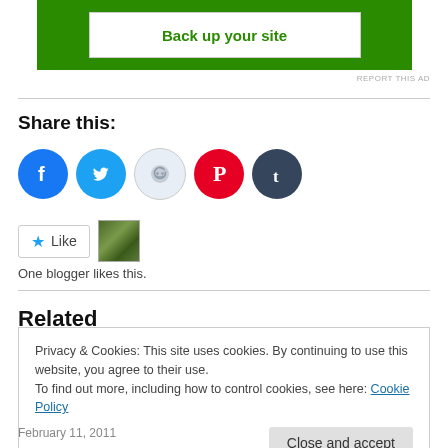[Figure (screenshot): Green advertisement banner with white inner box containing 'Back up your site' text in green]
REPORT THIS AD
Share this:
[Figure (infographic): Row of five social share icon circles: Facebook (blue), Twitter (light blue), Reddit (pale blue-gray), Pinterest (red), Tumblr (dark blue)]
[Figure (screenshot): Like button with star icon and a small blogger avatar thumbnail]
One blogger likes this.
Related
Privacy & Cookies: This site uses cookies. By continuing to use this website, you agree to their use.
To find out more, including how to control cookies, see here: Cookie Policy
February 11, 2011